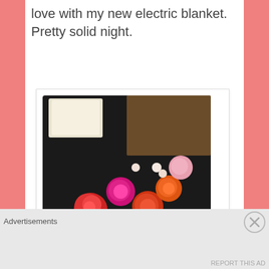love with my new electric blanket. Pretty solid night.
[Figure (photo): A bouquet of red, pink and orange roses with green foliage in a dark box, with a small card]
gorgeous arrangement!
from who?!?!
[Figure (photo): Partial view of purple flowers, cropped at bottom of page]
Advertisements